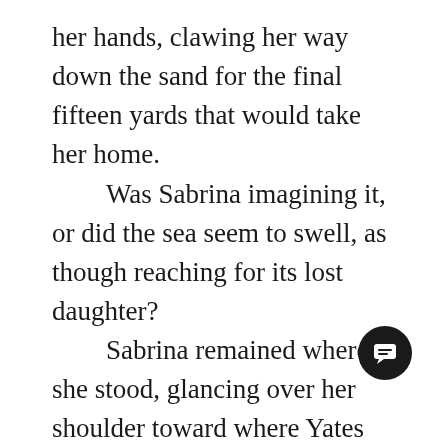her hands, clawing her way down the sand for the final fifteen yards that would take her home.

Was Sabrina imagining it, or did the sea seem to swell, as though reaching for its lost daughter?

Sabrina remained where she stood, glancing over her shoulder toward where Yates and his companion closed in on the out building.

The sky turned unnaturally dark, a chill wind whipping through f the surface of the ocean. Sabrina's